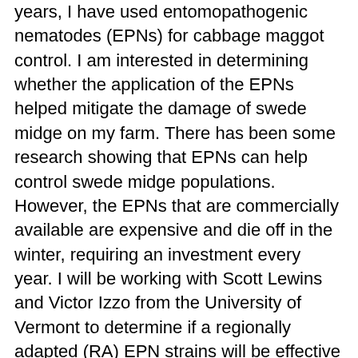years, I have used entomopathogenic nematodes (EPNs) for cabbage maggot control. I am interested in determining whether the application of the EPNs helped mitigate the damage of swede midge on my farm. There has been some research showing that EPNs can help control swede midge populations. However, the EPNs that are commercially available are expensive and die off in the winter, requiring an investment every year. I will be working with Scott Lewins and Victor Izzo from the University of Vermont to determine if a regionally adapted (RA) EPN strains will be effective in controlling SM and whether the RA EPNs can overwinter and maintain population levels. If we are able to access that EPNs are an effective control for SM these findings will benefit farmers by eliminating the costs associated with purchasing and applying entomopathogenic nematodes every spring. Currently, farmers have moved to covering crops with insect netting to control the impact of the swede midge. Insect netting is expensive and does not show a great deal of